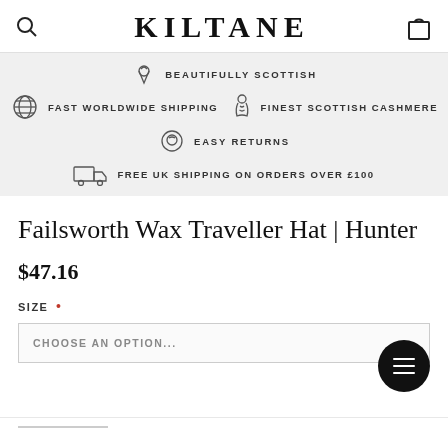KILTANE
BEAUTIFULLY SCOTTISH
FAST WORLDWIDE SHIPPING
FINEST SCOTTISH CASHMERE
EASY RETURNS
FREE UK SHIPPING ON ORDERS OVER £100
Failsworth Wax Traveller Hat | Hunter
$47.16
SIZE *
CHOOSE AN OPTION...